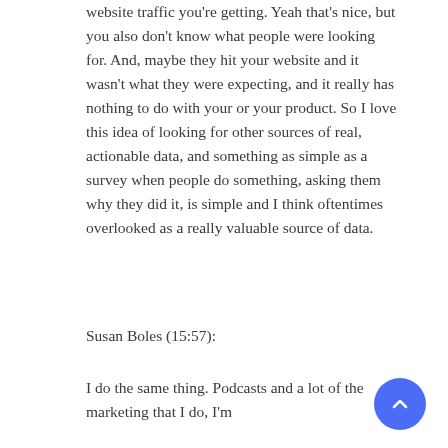website traffic you're getting. Yeah that's nice, but you also don't know what people were looking for. And, maybe they hit your website and it wasn't what they were expecting, and it really has nothing to do with your or your product. So I love this idea of looking for other sources of real, actionable data, and something as simple as a survey when people do something, asking them why they did it, is simple and I think oftentimes overlooked as a really valuable source of data.
Susan Boles (15:57):
I do the same thing. Podcasts and a lot of the marketing that I do, I'm